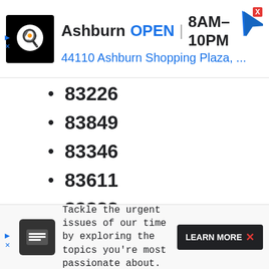[Figure (other): Top advertisement banner for a food business (Ashburn, OPEN 8AM-10PM, 44110 Ashburn Shopping Plaza) with a navigation icon and chef logo]
83226
83849
83346
83611
83822
83855
83612
83851
[Figure (other): Bottom advertisement banner with dark logo, text 'Tackle the urgent issues of our time by exploring the topics you're most passionate about.' and LEARN MORE button]